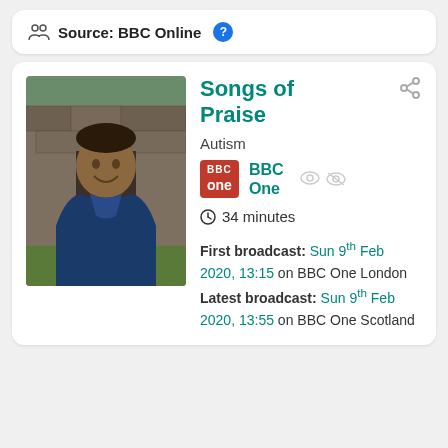Source: BBC Online
[Figure (photo): Photo of a man smiling in front of ancient stone ruins, wearing a blue jacket and burgundy scarf]
Songs of Praise
Autism
BBC One
34 minutes
First broadcast: Sun 9th Feb 2020, 13:15 on BBC One London
Latest broadcast: Sun 9th Feb 2020, 13:55 on BBC One Scotland